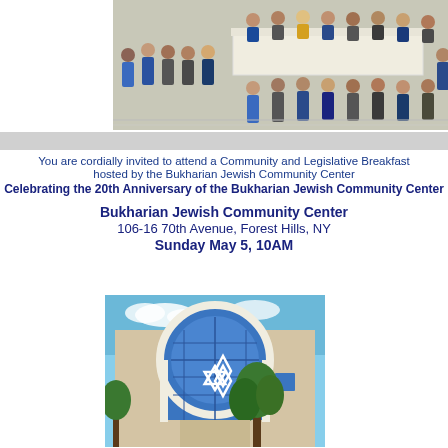[Figure (photo): Group photo of many people seated and standing around a long table with a white tablecloth in an indoor venue]
You are cordially invited to attend a Community and Legislative Breakfast hosted by the Bukharian Jewish Community Center
Celebrating the 20th Anniversary of the Bukharian Jewish Community Center
Bukharian Jewish Community Center
106-16 70th Avenue, Forest Hills, NY
Sunday May 5, 10AM
[Figure (photo): Exterior photo of the Bukharian Jewish Community Center building with a large arched window featuring a Star of David, blue glass windows, beige brick facade, and green trees]